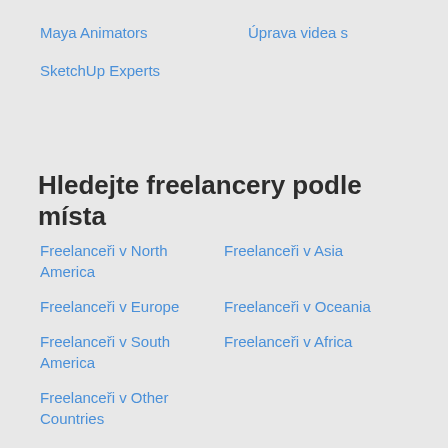Maya Animators
Úprava videa s
SketchUp Experts
Hledejte freelancery podle místa
Freelanceři v North America
Freelanceři v Asia
Freelanceři v Europe
Freelanceři v Oceania
Freelanceři v South America
Freelanceři v Africa
Freelanceři v Other Countries